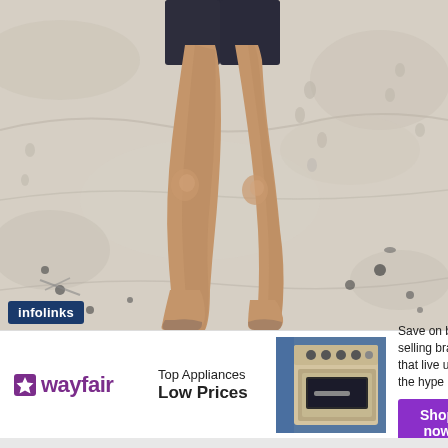[Figure (photo): Person's bare legs running or walking on sandy beach, wearing dark shorts, viewed from behind, sandy beach with footprints and small dark pebbles visible]
infolinks
[Figure (infographic): Wayfair advertisement banner: Wayfair logo on left, 'Top Appliances Low Prices' text in center-left, photo of a range/oven appliance in center, 'Save on best selling brands that live up to the hype' and 'Shop now' purple button on right]